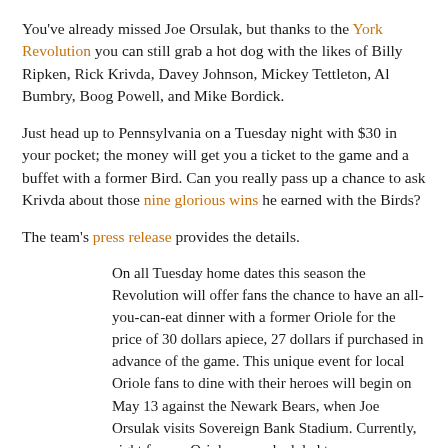You've already missed Joe Orsulak, but thanks to the York Revolution you can still grab a hot dog with the likes of Billy Ripken, Rick Krivda, Davey Johnson, Mickey Tettleton, Al Bumbry, Boog Powell, and Mike Bordick.
Just head up to Pennsylvania on a Tuesday night with $30 in your pocket; the money will get you a ticket to the game and a buffet with a former Bird. Can you really pass up a chance to ask Krivda about those nine glorious wins he earned with the Birds?
The team's press release provides the details.
On all Tuesday home dates this season the Revolution will offer fans the chance to have an all-you-can-eat dinner with a former Oriole for the price of 30 dollars apiece, 27 dollars if purchased in advance of the game. This unique event for local Oriole fans to dine with their heroes will begin on May 13 against the Newark Bears, when Joe Orsulak visits Sovereign Bank Stadium. Currently, eight former Orioles are scheduled to appear (schedule and player availability subject to change.) Highlighting the schedule are all-time greats